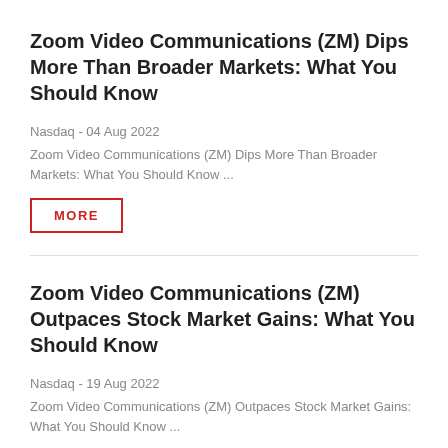Zoom Video Communications (ZM) Dips More Than Broader Markets: What You Should Know
Nasdaq - 04 Aug 2022
Zoom Video Communications (ZM) Dips More Than Broader Markets: What You Should Know ...
MORE
Zoom Video Communications (ZM) Outpaces Stock Market Gains: What You Should Know
Nasdaq - 19 Aug 2022
Zoom Video Communications (ZM) Outpaces Stock Market Gains: What You Should Know ...
MORE